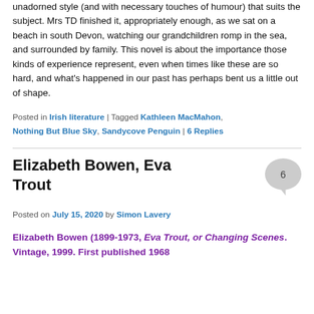unadorned style (and with necessary touches of humour) that suits the subject. Mrs TD finished it, appropriately enough, as we sat on a beach in south Devon, watching our grandchildren romp in the sea, and surrounded by family. This novel is about the importance those kinds of experience represent, even when times like these are so hard, and what's happened in our past has perhaps bent us a little out of shape.
Posted in Irish literature | Tagged Kathleen MacMahon, Nothing But Blue Sky, Sandycove Penguin | 6 Replies
Elizabeth Bowen, Eva Trout
Posted on July 15, 2020 by Simon Lavery
Elizabeth Bowen (1899-1973, Eva Trout, or Changing Scenes. Vintage, 1999. First published 1968